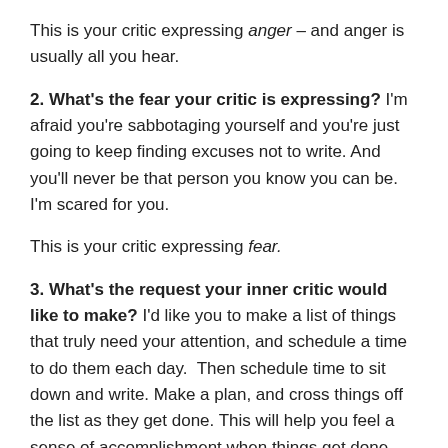This is your critic expressing anger – and anger is usually all you hear.
2. What's the fear your critic is expressing? I'm afraid you're sabbotaging yourself and you're just going to keep finding excuses not to write. And you'll never be that person you know you can be. I'm scared for you.
This is your critic expressing fear.
3. What's the request your inner critic would like to make? I'd like you to make a list of things that truly need your attention, and schedule a time to do them each day. Then schedule time to sit down and write. Make a plan, and cross things off the list as they get done. This will help you feel a sense of accomplishment when things get done, and you will be more likely to write without getting distracted.